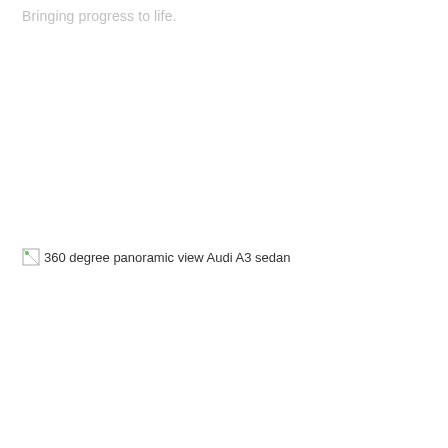Bringing progress to life.
[Figure (photo): 360 degree panoramic view Audi A3 sedan — broken/missing image placeholder with alt text]